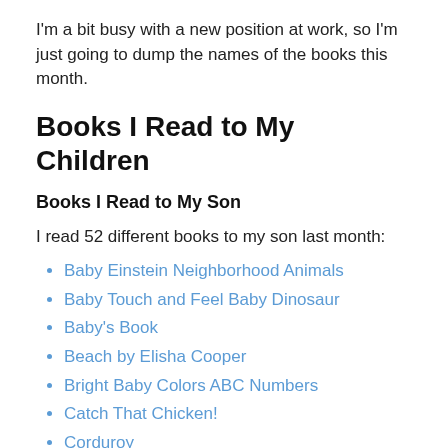I'm a bit busy with a new position at work, so I'm just going to dump the names of the books this month.
Books I Read to My Children
Books I Read to My Son
I read 52 different books to my son last month:
Baby Einstein Neighborhood Animals
Baby Touch and Feel Baby Dinosaur
Baby's Book
Beach by Elisha Cooper
Bright Baby Colors ABC Numbers
Catch That Chicken!
Corduroy
Corduroy's Shapes